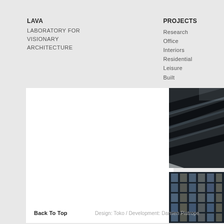LAVA
LABORATORY FOR VISIONARY ARCHITECTURE
PROJECTS
Research
Office
Interiors
Residential
Leisure
Built
[Figure (photo): Architectural detail showing angled dark metal structural elements and glass, photographed at dusk or interior lighting]
[Figure (photo): Close-up of a building facade showing glass curtain wall with dark horizontal and vertical framing elements]
Back To Top
Design: Toko / Development: Damien Pistrope